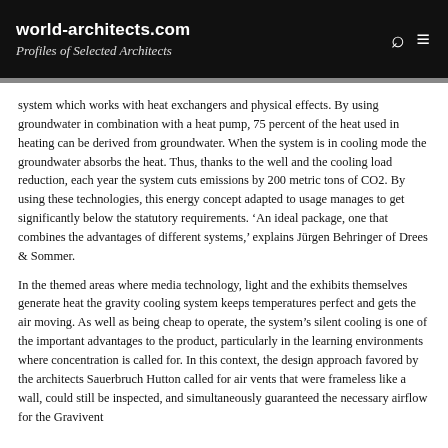world-architects.com
Profiles of Selected Architects
system which works with heat exchangers and physical effects. By using groundwater in combination with a heat pump, 75 percent of the heat used in heating can be derived from groundwater. When the system is in cooling mode the groundwater absorbs the heat. Thus, thanks to the well and the cooling load reduction, each year the system cuts emissions by 200 metric tons of CO2. By using these technologies, this energy concept adapted to usage manages to get significantly below the statutory requirements. ‘An ideal package, one that combines the advantages of different systems,’ explains Jürgen Behringer of Drees & Sommer.
In the themed areas where media technology, light and the exhibits themselves generate heat the gravity cooling system keeps temperatures perfect and gets the air moving. As well as being cheap to operate, the system’s silent cooling is one of the important advantages to the product, particularly in the learning environments where concentration is called for. In this context, the design approach favored by the architects Sauerbruch Hutton called for air vents that were frameless like a wall, could still be inspected, and simultaneously guaranteed the necessary airflow for the Gravivent